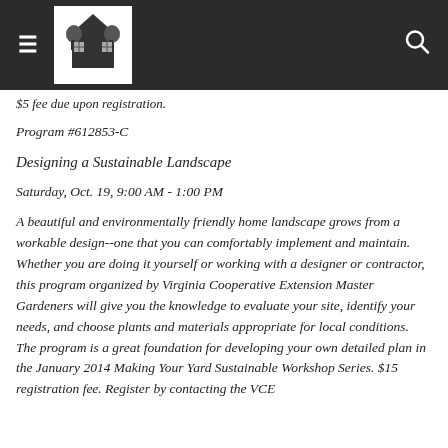≡ [logo] 🔍
$5 fee due upon registration.
Program #612853-C
Designing a Sustainable Landscape
Saturday, Oct. 19, 9:00 AM - 1:00 PM
A beautiful and environmentally friendly home landscape grows from a workable design--one that you can comfortably implement and maintain. Whether you are doing it yourself or working with a designer or contractor, this program organized by Virginia Cooperative Extension Master Gardeners will give you the knowledge to evaluate your site, identify your needs, and choose plants and materials appropriate for local conditions. The program is a great foundation for developing your own detailed plan in the January 2014 Making Your Yard Sustainable Workshop Series. $15 registration fee. Register by contacting the VCE